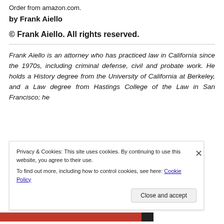Order from amazon.com.
by Frank Aiello
© Frank Aiello. All rights reserved.
Frank Aiello is an attorney who has practiced law in California since the 1970s, including criminal defense, civil and probate work. He holds a History degree from the University of California at Berkeley, and a Law degree from Hastings College of the Law in San Francisco; he
Privacy & Cookies: This site uses cookies. By continuing to use this website, you agree to their use.
To find out more, including how to control cookies, see here: Cookie Policy
Close and accept